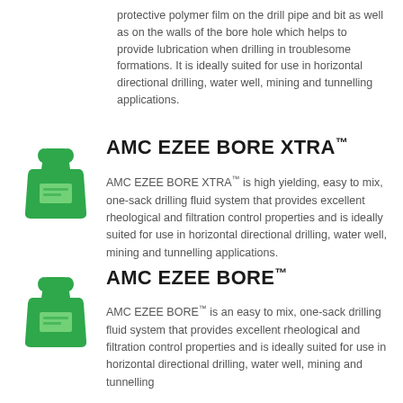protective polymer film on the drill pipe and bit as well as on the walls of the bore hole which helps to provide lubrication when drilling in troublesome formations. It is ideally suited for use in horizontal directional drilling, water well, mining and tunnelling applications.
[Figure (illustration): Green bag/sack product icon for AMC EZEE BORE XTRA]
AMC EZEE BORE XTRA™
AMC EZEE BORE XTRA™ is high yielding, easy to mix, one-sack drilling fluid system that provides excellent rheological and filtration control properties and is ideally suited for use in horizontal directional drilling, water well, mining and tunnelling applications.
[Figure (illustration): Green bag/sack product icon for AMC EZEE BORE]
AMC EZEE BORE™
AMC EZEE BORE™ is an easy to mix, one-sack drilling fluid system that provides excellent rheological and filtration control properties and is ideally suited for use in horizontal directional drilling, water well, mining and tunnelling